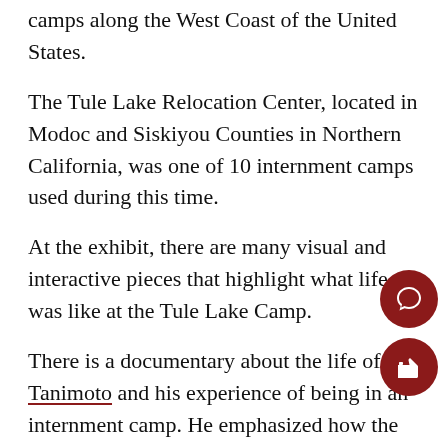camps along the West Coast of the United States.
The Tule Lake Relocation Center, located in Modoc and Siskiyou Counties in Northern California, was one of 10 internment camps used during this time.
At the exhibit, there are many visual and interactive pieces that highlight what life was like at the Tule Lake Camp.
There is a documentary about the life of Jim Tanimoto and his experience of being in an internment camp. He emphasized how the younger generation should fight to protect their civil rights.
In one corner of the exhibit, there are profiles of various people who were sent to internment camps as young adults and are now reflecting how they to live their lives during those years of imprisonment